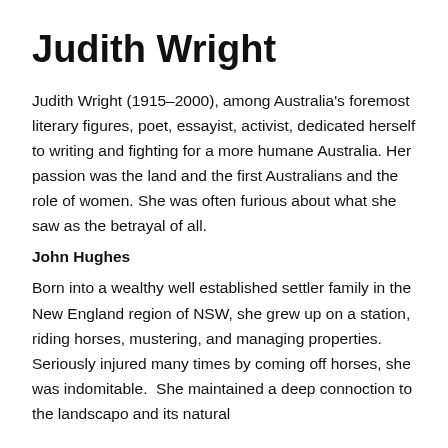Judith Wright
Judith Wright (1915–2000), among Australia's foremost literary figures, poet, essayist, activist, dedicated herself to writing and fighting for a more humane Australia. Her passion was the land and the first Australians and the role of women. She was often furious about what she saw as the betrayal of all.
John Hughes
Born into a wealthy well established settler family in the New England region of NSW, she grew up on a station, riding horses, mustering, and managing properties.  Seriously injured many times by coming off horses, she was indomitable.  She maintained a deep connoction to the landscapo and its natural